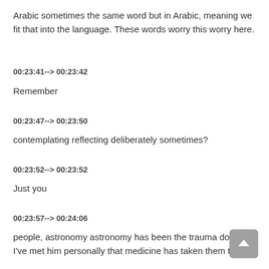Arabic sometimes the same word but in Arabic, meaning we fit that into the language. These words worry this worry here.
00:23:41--> 00:23:42
Remember
00:23:47--> 00:23:50
contemplating reflecting deliberately sometimes?
00:23:52--> 00:23:52
Just you
00:23:57--> 00:24:06
people, astronomy astronomy has been the trauma doctors I've met him personally that medicine has taken them to